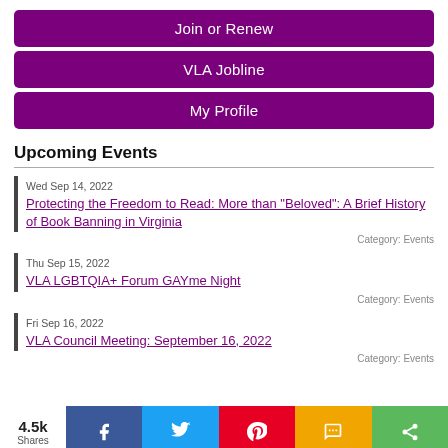Join or Renew
VLA Jobline
My Profile
Upcoming Events
Wed Sep 14, 2022
Protecting the Freedom to Read: More than "Beloved": A Brief History of Book Banning in Virginia
Category: Events
Thu Sep 15, 2022
VLA LGBTQIA+ Forum GAYme Night
Category: Events
Fri Sep 16, 2022
VLA Council Meeting: September 16, 2022
Category: Events
4.5k Shares